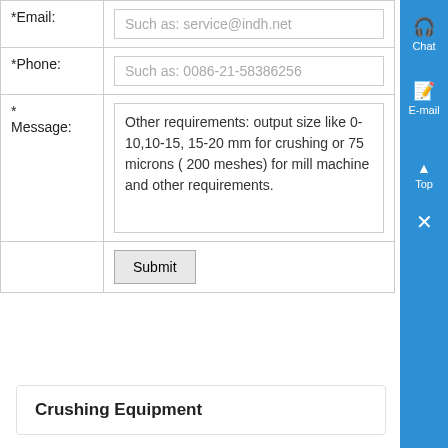| *Email: | Such as: service@indh.net |
| *Phone: | Such as: 0086-21-58386256 |
| * Message: | Other requirements: output size like 0-10,10-15, 15-20 mm for crushing or 75 microns ( 200 meshes) for mill machine and other requirements. |
|  | Submit |
[Figure (screenshot): Blue sidebar with Chat, E-mail, Top arrow, and X close button icons]
Crushing Equipment